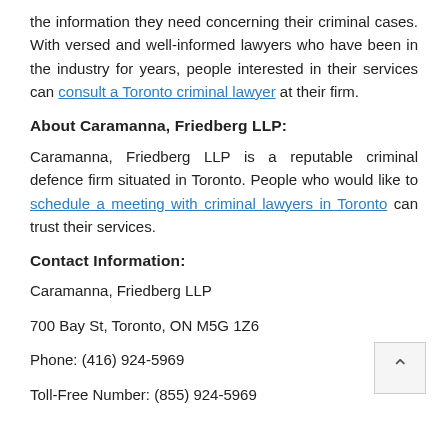the information they need concerning their criminal cases. With versed and well-informed lawyers who have been in the industry for years, people interested in their services can consult a Toronto criminal lawyer at their firm.
About Caramanna, Friedberg LLP:
Caramanna, Friedberg LLP is a reputable criminal defence firm situated in Toronto. People who would like to schedule a meeting with criminal lawyers in Toronto can trust their services.
Contact Information:
Caramanna, Friedberg LLP
700 Bay St, Toronto, ON M5G 1Z6
Phone: (416) 924-5969
Toll-Free Number: (855) 924-5969